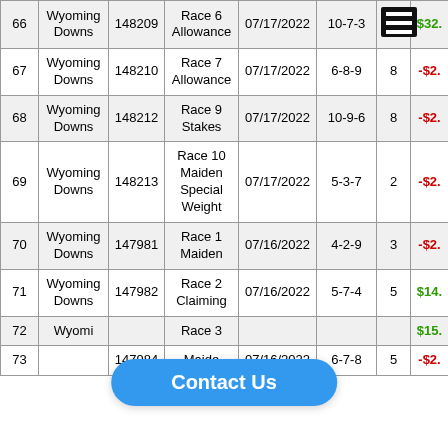| # | Track | ID | Race | Date | Order | Runners | Result |
| --- | --- | --- | --- | --- | --- | --- | --- |
| 66 | Wyoming Downs | 148209 | Race 6 Allowance | 07/17/2022 | 10-7-3 |  | $32. |
| 67 | Wyoming Downs | 148210 | Race 7 Allowance | 07/17/2022 | 6-8-9 | 8 | -$2. |
| 68 | Wyoming Downs | 148212 | Race 9 Stakes | 07/17/2022 | 10-9-6 | 8 | -$2. |
| 69 | Wyoming Downs | 148213 | Race 10 Maiden Special Weight | 07/17/2022 | 5-3-7 | 2 | -$2. |
| 70 | Wyoming Downs | 147981 | Race 1 Maiden | 07/16/2022 | 4-2-9 | 3 | -$2. |
| 71 | Wyoming Downs | 147982 | Race 2 Claiming | 07/16/2022 | 5-7-4 | 5 | $14. |
| 72 | Wyoming... |  | Race 3... |  |  |  | $15. |
| 73 |  | 147984 |  | 07/16/2022 | 6-7-8 | 5 | -$2. |